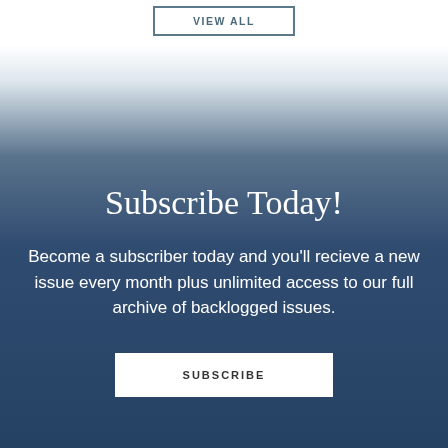VIEW ALL
Subscribe Today!
Become a subscriber today and you'll recieve a new issue every month plus unlimited access to our full archive of backlogged issues.
SUBSCRIBE